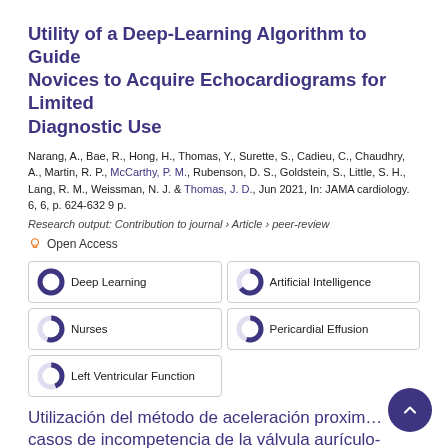Utility of a Deep-Learning Algorithm to Guide Novices to Acquire Echocardiograms for Limited Diagnostic Use
Narang, A., Bae, R., Hong, H., Thomas, Y., Surette, S., Cadieu, C., Chaudhry, A., Martin, R. P., McCarthy, P. M., Rubenson, D. S., Goldstein, S., Little, S. H., Lang, R. M., Weissman, N. J. & Thomas, J. D., Jun 2021, In: JAMA cardiology. 6, 6, p. 624-632 9 p.
Research output: Contribution to journal › Article › peer-review
Open Access
Deep Learning
Artificial Intelligence
Nurses
Pericardial Effusion
Left Ventricular Function
Utilización del método de aceleración proximal para identificar casos de incompetencia de la válvula aurículo-ventricular derecha.